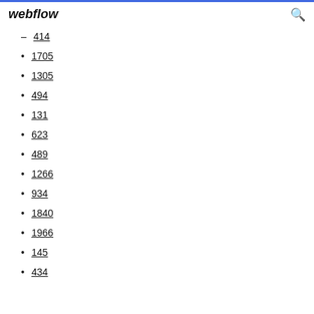webflow
414
1705
1305
494
131
623
489
1266
934
1840
1966
145
434